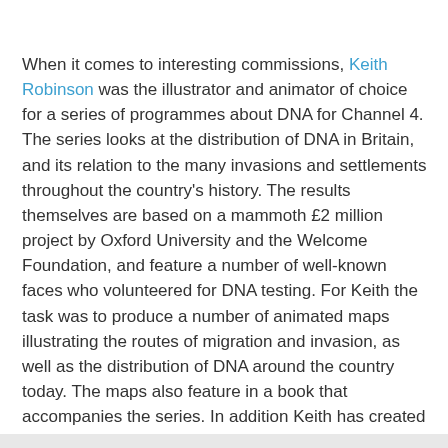When it comes to interesting commissions, Keith Robinson was the illustrator and animator of choice for a series of programmes about DNA for Channel 4. The series looks at the distribution of DNA in Britain, and its relation to the many invasions and settlements throughout the country's history. The results themselves are based on a mammoth £2 million project by Oxford University and the Welcome Foundation, and feature a number of well-known faces who volunteered for DNA testing. For Keith the task was to produce a number of animated maps illustrating the routes of migration and invasion, as well as the distribution of DNA around the country today. The maps also feature in a book that accompanies the series. In addition Keith has created a number of short animated sequences to illustrate the various population groups. The highly evocative silhouette style that Keith employs so well here makes for an interesting departure from the usual historical "reconstructions" and 3D computer graphics typically used in history documentaries.